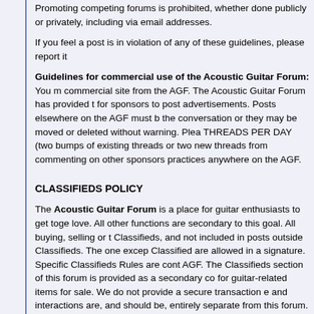Promoting competing forums is prohibited, whether done publicly or privately, including via email addresses.
If you feel a post is in violation of any of these guidelines, please report it
Guidelines for commercial use of the Acoustic Guitar Forum: You may not link to a commercial site from the AGF. The Acoustic Guitar Forum has provided a Sponsor Forum area for sponsors to post advertisements. Posts elsewhere on the AGF must be germane to the conversation or they may be moved or deleted without warning. Please limit to TWO THREADS PER DAY (two bumps of existing threads or two new threads). Sponsors are prohibited from commenting on other sponsors practices anywhere on the AGF.
CLASSIFIEDS POLICY
The Acoustic Guitar Forum is a place for guitar enthusiasts to get together to share their love. All other functions are secondary to this goal. All buying, selling or trading must occur in Classifieds, and not included in posts outside Classifieds. The one exception is items for sale in a Classified are allowed in a signature. Specific Classifieds Rules are contained in the rules of the AGF. The Classifieds section of this forum is provided as a secondary convenience and is meant for guitar-related items for sale. We do not provide a secure transaction environment. Transactions and interactions are, and should be, entirely separate from this forum. Transaction feedback is a result, since it is part of the transaction, transaction feedback, positive and negative is not allowed. AGF Classifieds are intended for individuals selling personally owned music or music-related items only. Selling items for others is not permitted. In the event of excessive selling activity, as determined by the staff, a member will be required to upgrade their membership.
SPAMMING & TROLLS